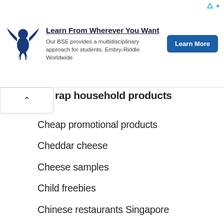[Figure (other): Advertisement banner for Embry-Riddle Worldwide BSE program with eagle logo and 'Learn More' button]
rap household products
Cheap promotional products
Cheddar cheese
Cheese samples
Child freebies
Chinese restaurants Singapore
Circuit training
City fitness
Clickbank affiliate program
Clinique foundation samples
Clinique free samples